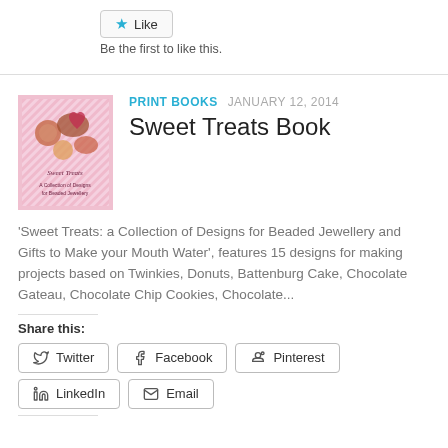[Figure (other): Like button with star icon]
Be the first to like this.
[Figure (photo): Book cover of Sweet Treats featuring beaded jewellery designs on a pink background]
PRINT BOOKS  JANUARY 12, 2014
Sweet Treats Book
'Sweet Treats: a Collection of Designs for Beaded Jewellery and Gifts to Make your Mouth Water', features 15 designs for making projects based on Twinkies, Donuts, Battenburg Cake, Chocolate Gateau, Chocolate Chip Cookies, Chocolate...
Share this:
Twitter  Facebook  Pinterest  LinkedIn  Email